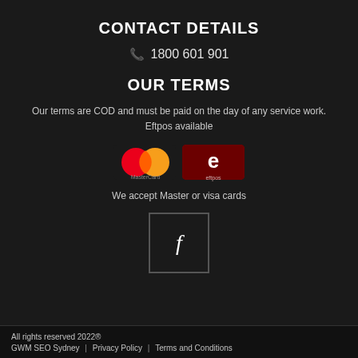CONTACT DETAILS
1800 601 901
OUR TERMS
Our terms are COD and must be paid on the day of any service work. Eftpos available
[Figure (logo): Mastercard and Eftpos payment logos side by side]
We accept Master or visa cards
[Figure (logo): Facebook icon in a square border]
All rights reserved 2022® GWM SEO Sydney | Privacy Policy | Terms and Conditions